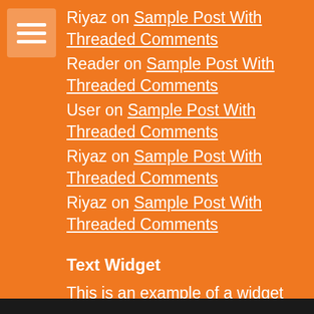Riyaz on Sample Post With Threaded Comments
Reader on Sample Post With Threaded Comments
User on Sample Post With Threaded Comments
Riyaz on Sample Post With Threaded Comments
Riyaz on Sample Post With Threaded Comments
Text Widget
This is an example of a widget which can be used to describe a product or service. This is an example of a widget which can be used to describe a product or service.
Image Credits